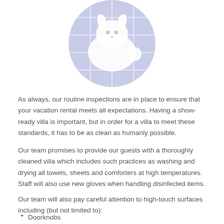[Figure (illustration): Circular illustration with light purple/lavender background showing a white animal (possibly a cat or rabbit) on a grid/tile pattern]
As always, our routine inspections are in place to ensure that your vacation rental meets all expectations. Having a show-ready villa is important, but in order for a villa to meet these standards, it has to be as clean as humanly possible.
Our team promises to provide our guests with a thoroughly cleaned villa which includes such practices as washing and drying all towels, sheets and comforters at high temperatures. Staff will also use new gloves when handling disinfected items.
Our team will also pay careful attention to high-touch surfaces including (but not limited to):
Doorknobs